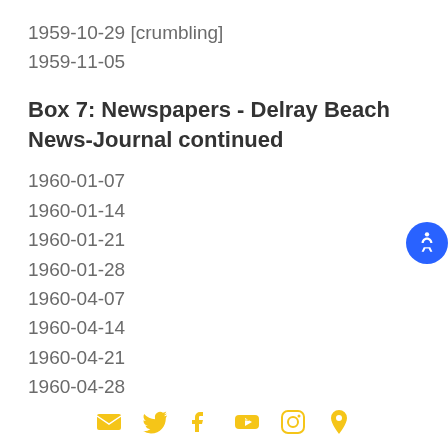1959-10-29 [crumbling]
1959-11-05
Box 7: Newspapers - Delray Beach News-Journal continued
1960-01-07
1960-01-14
1960-01-21
1960-01-28
1960-04-07
1960-04-14
1960-04-21
1960-04-28
Social media icons: email, twitter, facebook, youtube, instagram, location